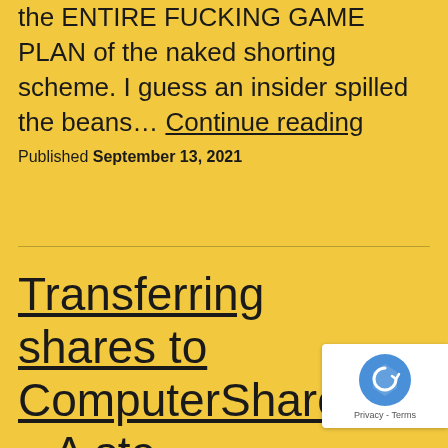the ENTIRE FUCKING GAME PLAN of the naked shorting scheme. I guess an insider spilled the beans… Continue reading
Published September 13, 2021
Transferring shares to ComputerShare – A ste…